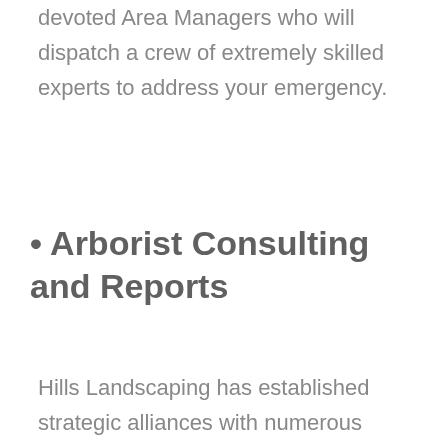devoted Area Managers who will dispatch a crew of extremely skilled experts to address your emergency.
• Arborist Consulting and Reports
Hills Landscaping has established strategic alliances with numerous consulting arborists throughout our service area for the benefit of our customers.